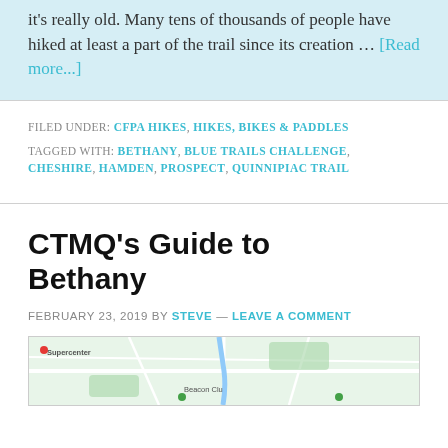it's really old. Many tens of thousands of people have hiked at least a part of the trail since its creation … [Read more...]
FILED UNDER: CFPA HIKES, HIKES, BIKES & PADDLES
TAGGED WITH: BETHANY, BLUE TRAILS CHALLENGE, CHESHIRE, HAMDEN, PROSPECT, QUINNIPIAC TRAIL
CTMQ's Guide to Bethany
FEBRUARY 23, 2019 BY STEVE — LEAVE A COMMENT
[Figure (map): Google Maps screenshot showing Bethany area with roads and landmarks including Beacon Club visible]